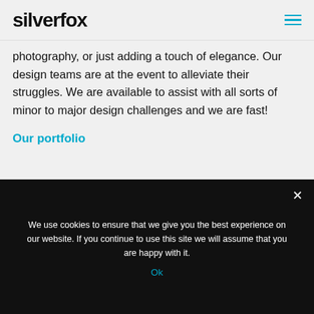silverfox
photography, or just adding a touch of elegance. Our design teams are at the event to alleviate their struggles. We are available to assist with all sorts of minor to major design challenges and we are fast!
Our portfolio
We use cookies to ensure that we give you the best experience on our website. If you continue to use this site we will assume that you are happy with it.
Ok